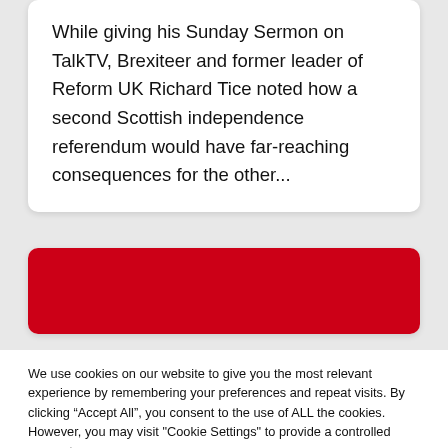While giving his Sunday Sermon on TalkTV, Brexiteer and former leader of Reform UK Richard Tice noted how a second Scottish independence referendum would have far-reaching consequences for the other...
[Figure (other): Red banner/header image inside a card]
We use cookies on our website to give you the most relevant experience by remembering your preferences and repeat visits. By clicking “Accept All”, you consent to the use of ALL the cookies. However, you may visit "Cookie Settings" to provide a controlled consent.
Cookie Settings   Accept All